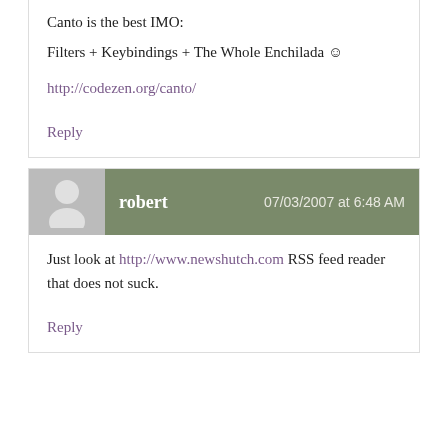Canto is the best IMO:
Filters + Keybindings + The Whole Enchilada ☺
http://codezen.org/canto/
Reply
robert  07/03/2007 at 6:48 AM
Just look at http://www.newshutch.com RSS feed reader that does not suck.
Reply